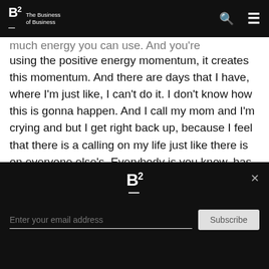B2 The Business of Business
much energy you can use. And you're using the positive energy momentum, it creates this momentum. And there are days that I have, where I'm just like, I can't do it. I don't know how this is gonna happen. And I call my mom and I'm crying and but I get right back up, because I feel that there is a calling on my life just like there is on everyone else's. Everybody is you know, has there's a purpose. And I can very much well not live that purpose, or I can 100% of that purpose. It's a choice, I have a choice.
And things are not fair, but things are balanced. And
B2 — Enter your email address — Subscribe